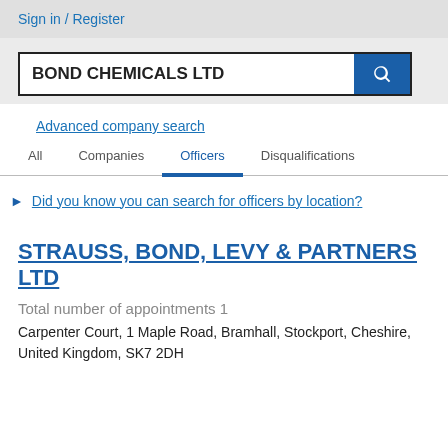Sign in / Register
BOND CHEMICALS LTD
Advanced company search
All   Companies   Officers   Disqualifications
Did you know you can search for officers by location?
STRAUSS, BOND, LEVY & PARTNERS LTD
Total number of appointments 1
Carpenter Court, 1 Maple Road, Bramhall, Stockport, Cheshire, United Kingdom, SK7 2DH